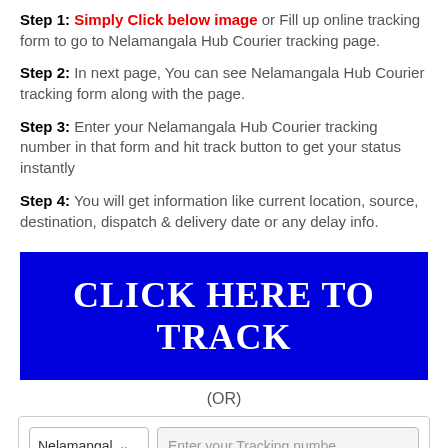Step 1: Simply Click below image or Fill up online tracking form to go to Nelamangala Hub Courier tracking page.
Step 2: In next page, You can see Nelamangala Hub Courier tracking form along with the page.
Step 3: Enter your Nelamangala Hub Courier tracking number in that form and hit track button to get your status instantly
Step 4: You will get information like current location, source, destination, dispatch & delivery date or any delay info.
[Figure (other): Blue banner button with white text reading CLICK HERE TO TRACK]
(OR)
[Figure (other): Tracking form with a dropdown showing Nelamangal and a text input placeholder Enter your Tracking numbe, and a red TRACK button below]